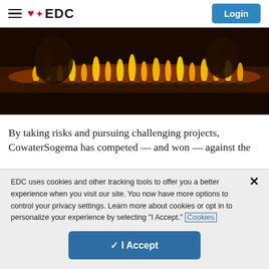EDC — Login
[Figure (photo): Hands lighting small oil lamps or candles arranged in rows, fire visible across the image]
By taking risks and pursuing challenging projects, CowaterSogema has competed — and won — against the
EDC uses cookies and other tracking tools to offer you a better experience when you visit our site. You now have more options to control your privacy settings. Learn more about cookies or opt in to personalize your experience by selecting "I Accept." Cookies
✓ I Accept